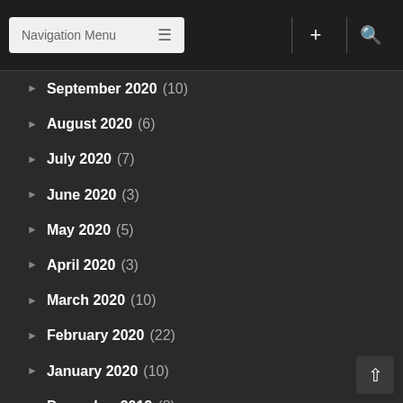Navigation Menu
September 2020 (10)
August 2020 (6)
July 2020 (7)
June 2020 (3)
May 2020 (5)
April 2020 (3)
March 2020 (10)
February 2020 (22)
January 2020 (10)
December 2019 (8)
November 2019 (30)
October 2019 (30)
September 2019 (27)